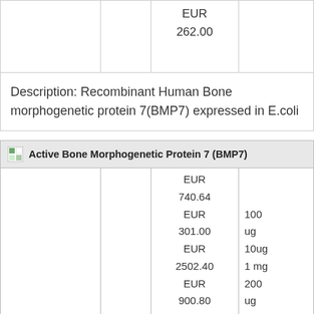|  |  | EUR
262.00 |  |
Description: Recombinant Human Bone morphogenetic protein 7(BMP7) expressed in E.coli
|  |  | Price | Quantity |
| --- | --- | --- | --- |
|  |  | EUR 740.64
EUR 301.00
EUR 2502.40
EUR |  |
| 4- | Cloud- | 900.80 | 100 ug
10ug
1 mg
200
ug |
Active Bone Morphogenetic Protein 7 (BMP7)